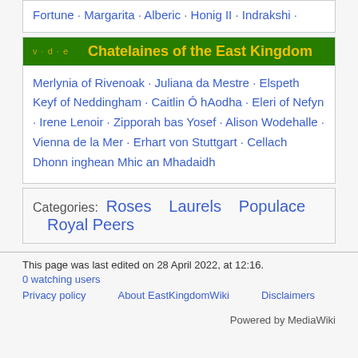Fortune · Margarita · Alberic · Honig II · Indrakshi ·
Chatelaines of the East Kingdom
Merlynia of Rivenoak · Juliana da Mestre · Elspeth Keyf of Neddingham · Caitlin Ó hAodha · Eleri of Nefyn · Irene Lenoir · Zipporah bas Yosef · Alison Wodehalle · Vienna de la Mer · Erhart von Stuttgart · Cellach Dhonn inghean Mhic an Mhadaidh
Categories: Roses  Laurels  Populace  Royal Peers
This page was last edited on 28 April 2022, at 12:16.
0 watching users
Privacy policy    About EastKingdomWiki    Disclaimers
Powered by MediaWiki